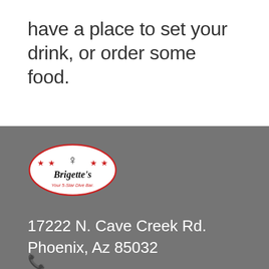have a place to set your drink, or order some food.
[Figure (logo): Brigette's Your 5-Star Dive Bar oval logo with red stars and silhouette figure]
17222 N. Cave Creek Rd.
Phoenix, Az 85032
[Figure (other): Blue phone/arrow icon]